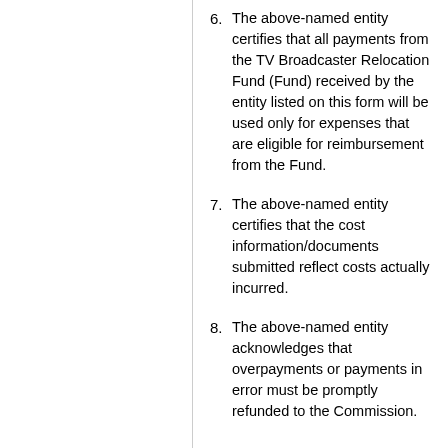6. The above-named entity certifies that all payments from the TV Broadcaster Relocation Fund (Fund) received by the entity listed on this form will be used only for expenses that are eligible for reimbursement from the Fund.
7. The above-named entity certifies that the cost information/documents submitted reflect costs actually incurred.
8. The above-named entity acknowledges that overpayments or payments in error must be promptly refunded to the Commission.